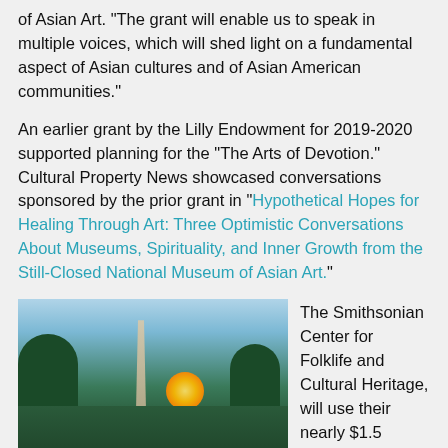of Asian Art. “The grant will enable us to speak in multiple voices, which will shed light on a fundamental aspect of Asian cultures and of Asian American communities.”
An earlier grant by the Lilly Endowment for 2019-2020 supported planning for the “The Arts of Devotion.” Cultural Property News showcased conversations sponsored by the prior grant in “Hypothetical Hopes for Healing Through Art: Three Optimistic Conversations About Museums, Spirituality, and Inner Growth from the Still-Closed National Museum of Asian Art.”
[Figure (photo): Outdoor crowd sitting on grass at sunset with Washington Monument in the background, warm golden light from sun behind the monument, trees on either side, people gathered for an outdoor event.]
The Smithsonian Center for Folklife and Cultural Heritage, will use their nearly $1.5